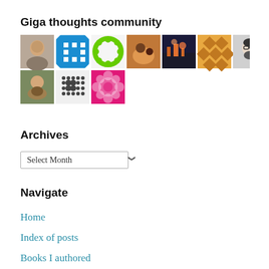Giga thoughts community
[Figure (illustration): Grid of 10 community member avatar thumbnails in two rows. Row 1: photo of older man, blue geometric pattern, green circular pattern, photo of animals/people, photo of city at night, orange diamond pattern, illustrated man with glasses. Row 2: photo of bearded man, dark grey dot pattern, pink/magenta floral pattern.]
Archives
Select Month
Navigate
Home
Index of posts
Books I authored